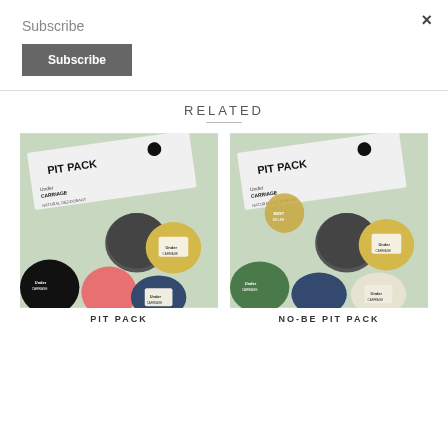×
Subscribe
Subscribe
RELATED
[Figure (photo): Pit Pack natural deodorant product box with several deodorant tins on a green background]
[Figure (photo): No-Be Pit Pack natural deodorant product box with several deodorant tins on a green background]
PIT PACK
NO-BE PIT PACK